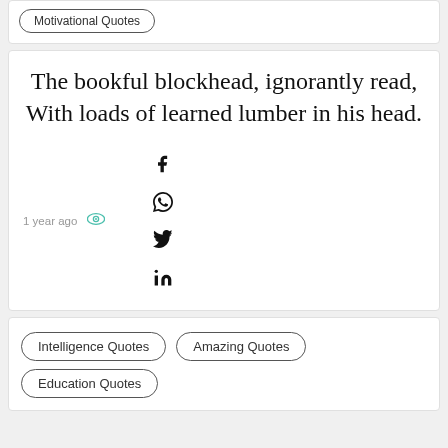Motivational Quotes
The bookful blockhead, ignorantly read, With loads of learned lumber in his head.
1 year ago
[Figure (infographic): Eye/view icon in teal color]
[Figure (infographic): Social share icons: Facebook, WhatsApp, Twitter, LinkedIn]
Intelligence Quotes
Amazing Quotes
Education Quotes